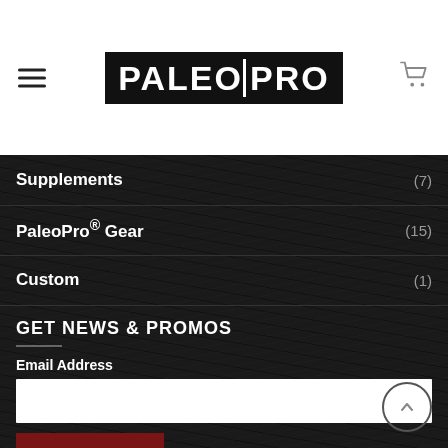PALEOPRO
Supplements (7)
PaleoPro® Gear (15)
Custom (1)
GET NEWS & PROMOS
Email Address
SIGN UP